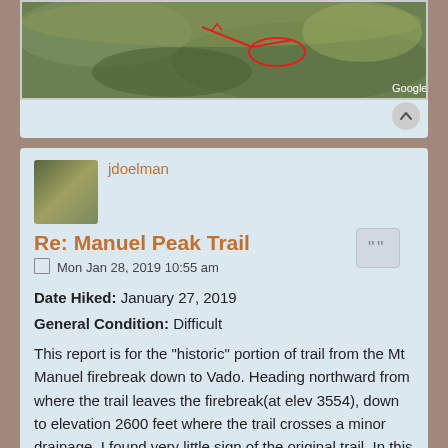[Figure (photo): Partial view of a Google Earth satellite/map image of a mountainous area with red annotations (arrows and markings) drawn on it. Bottom-right shows 'Google E' watermark.]
jdoelman
Re: Manuel Peak Trail
Mon Jan 28, 2019 10:55 am
Date Hiked: January 27, 2019
General Condition: Difficult
This report is for the "historic" portion of trail from the Mt Manuel firebreak down to Vado. Heading northward from where the trail leaves the firebreak(at elev 3554), down to elevation 2600 feet where the trail crosses a minor drainage, I found very little sign of the original trail. In this area the hillside is sparsely treed and no dense brush, so it was easy to traverse without the trail. From 2600 ft northward, the trail is usable with some difficulties when crossing each of the 3